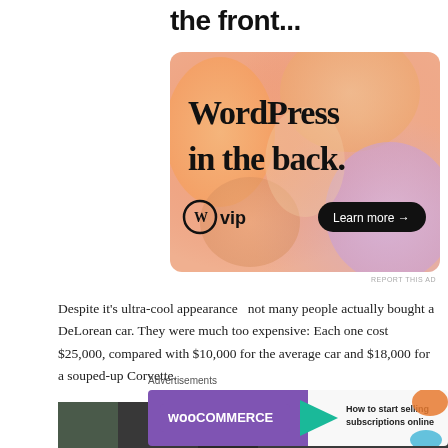the front...
[Figure (illustration): WordPress VIP advertisement banner with gradient orange/pink/purple background. Large text reads 'WordPress in the back.' with WordPress VIP logo on lower left and 'Learn more →' button on lower right.]
REPORT THIS AD
Despite it's ultra-cool appearance  not many people actually bought a DeLorean car. They were much too expensive: Each one cost $25,000, compared with $10,000 for the average car and $18,000 for a souped-up Corvette.
[Figure (photo): Partial view of a dark outdoor scene, possibly trees or landscape.]
Advertisements
[Figure (illustration): WooCommerce advertisement: purple background with WooCommerce logo and teal arrow, text reads 'How to start selling subscriptions online' with orange and blue decorative elements.]